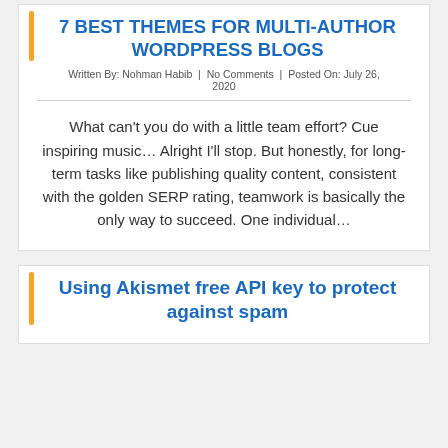7 Best THEMES FOR MULTI-AUTHOR WORDPRESS BLOGS
Written By: Nohman Habib  |  No Comments  |  Posted On: July 26, 2020
What can't you do with a little team effort? Cue inspiring music… Alright I'll stop. But honestly, for long-term tasks like publishing quality content, consistent with the golden SERP rating, teamwork is basically the only way to succeed. One individual…
Using Akismet free API key to protect against spam